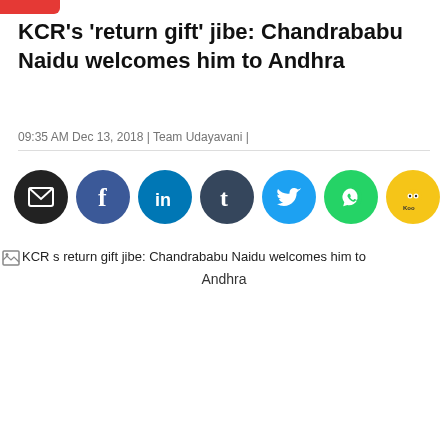KCR's 'return gift' jibe: Chandrababu Naidu welcomes him to Andhra
09:35 AM Dec 13, 2018 | Team Udayavani |
[Figure (other): Social sharing icons row: email (black), Facebook (blue), LinkedIn (blue), Tumblr (dark blue), Twitter (light blue), WhatsApp (green), Koo (yellow)]
[Figure (photo): Broken image placeholder for: KCR s return gift jibe: Chandrababu Naidu welcomes him to Andhra]